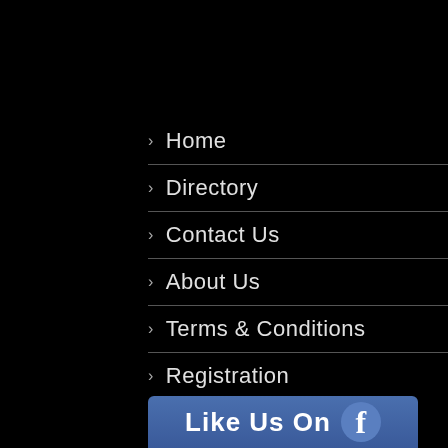> Home
> Directory
> Contact Us
> About Us
> Terms & Conditions
> Registration
[Figure (screenshot): Facebook 'Like Us On' button bar at the bottom of the page]